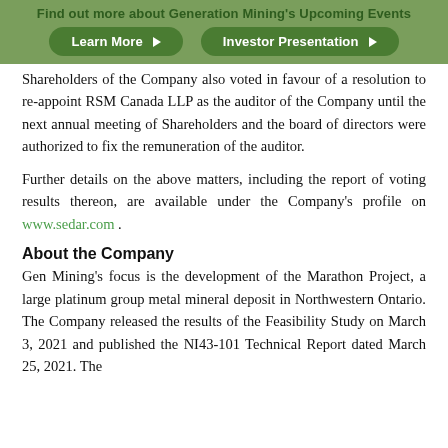Find out more about Generation Mining's Upcoming Events
Shareholders of the Company also voted in favour of a resolution to re-appoint RSM Canada LLP as the auditor of the Company until the next annual meeting of Shareholders and the board of directors were authorized to fix the remuneration of the auditor.
Further details on the above matters, including the report of voting results thereon, are available under the Company's profile on www.sedar.com .
About the Company
Gen Mining's focus is the development of the Marathon Project, a large platinum group metal mineral deposit in Northwestern Ontario. The Company released the results of the Feasibility Study on March 3, 2021 and published the NI43-101 Technical Report dated March 25, 2021. The